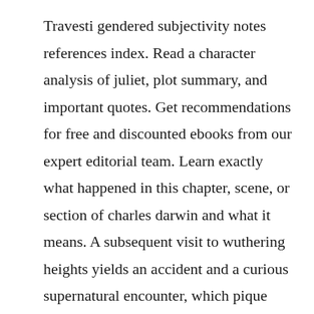Travesti gendered subjectivity notes references index. Read a character analysis of juliet, plot summary, and important quotes. Get recommendations for free and discounted ebooks from our expert editorial team. Learn exactly what happened in this chapter, scene, or section of charles darwin and what it means. A subsequent visit to wuthering heights yields an accident and a curious supernatural encounter, which pique lockwoods curiosity.

The alchemist study guide contains a